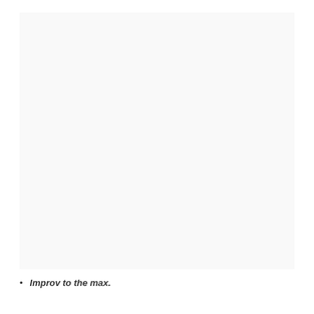[Figure (other): Large blank/white image block occupying most of the upper portion of the page.]
Improv to the max.